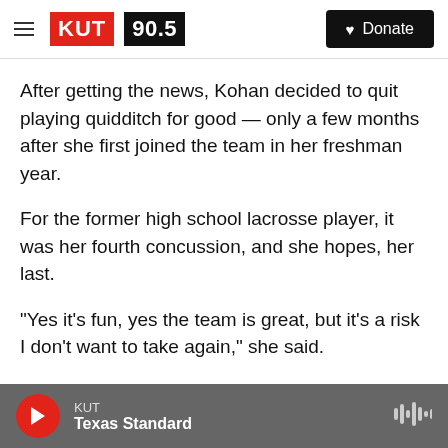[Figure (logo): KUT 90.5 radio station logo with hamburger menu and Donate button]
After getting the news, Kohan decided to quit playing quidditch for good — only a few months after she first joined the team in her freshman year.
For the former high school lacrosse player, it was her fourth concussion, and she hopes, her last.
"Yes it's fun, yes the team is great, but it's a risk I don't want to take again," she said.
Before 2005, quidditch existed only as a creation from the fictional world of Harry Potter — a pastime for witches and wizards on flying broomsticks. But
KUT | Texas Standard